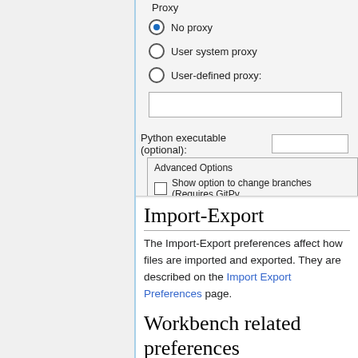[Figure (screenshot): UI screenshot showing Proxy settings with radio buttons (No proxy selected, User system proxy, User-defined proxy), a text input field, Python executable field, and Advanced Options section with a checkbox for 'Show option to change branches (Requires GitPy...']
Import-Export
The Import-Export preferences affect how files are imported and exported. They are described on the Import Export Preferences page.
Workbench related preferences